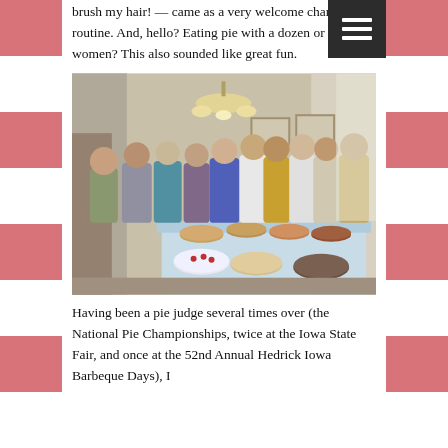brush my hair! — came as a very welcome change of routine. And, hello? Eating pie with a dozen or so other women? This also sounded like great fun.
[Figure (photo): Group photo of approximately twelve women standing around a table covered with a white tablecloth and numerous pies. The room has a chandelier overhead and framed pictures on the wall. The women are dressed casually in colorful sweaters and scarves.]
Having been a pie judge several times over (the National Pie Championships, twice at the Iowa State Fair, and once at the 52nd Annual Hedrick Iowa Barbeque Days), I